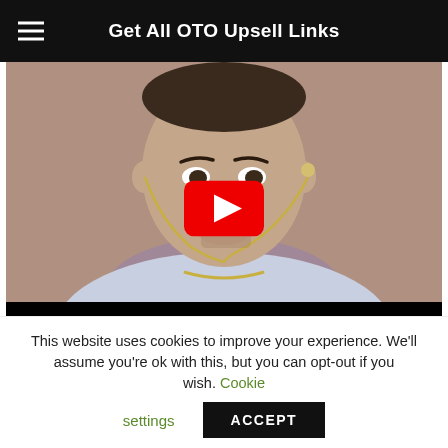Get All OTO Upsell Links
[Figure (screenshot): YouTube video thumbnail showing a man with a shaved head wearing wireless earbuds and a grey shirt, with a red YouTube play button overlay in the center, and a black bar at the bottom of the video player.]
This website uses cookies to improve your experience. We'll assume you're ok with this, but you can opt-out if you wish. Cookie settings ACCEPT